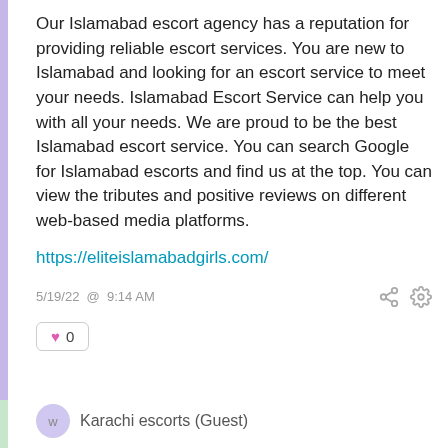Our Islamabad escort agency has a reputation for providing reliable escort services. You are new to Islamabad and looking for an escort service to meet your needs. Islamabad Escort Service can help you with all your needs. We are proud to be the best Islamabad escort service. You can search Google for Islamabad escorts and find us at the top. You can view the tributes and positive reviews on different web-based media platforms.
https://eliteislamabadgirls.com/
5/19/22 @ 9:14 AM
0
Karachi escorts (Guest)